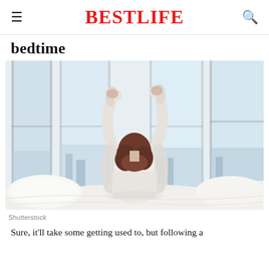BestLife
bedtime
[Figure (photo): Woman seen from behind sitting on a bed, arms raised in a stretch, facing bright windows]
Shutterstock
Sure, it'll take some getting used to, but following a